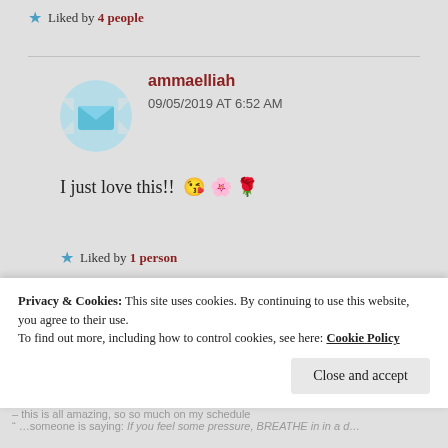★ Liked by 4 people
[Figure (illustration): Round avatar with blue cross/plus shape icon for user ammaelliah]
ammaelliah
09/05/2019 AT 6:52 AM
I just love this!! 😘 🌸 🌹
★ Liked by 1 person
[Figure (illustration): Round avatar with colorful SOC logo for second commenter]
The CAT(s) That Lived
Privacy & Cookies: This site uses cookies. By continuing to use this website, you agree to their use.
To find out more, including how to control cookies, see here: Cookie Policy
Close and accept